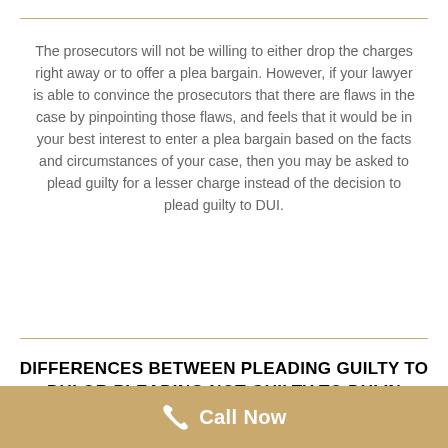The prosecutors will not be willing to either drop the charges right away or to offer a plea bargain. However, if your lawyer is able to convince the prosecutors that there are flaws in the case by pinpointing those flaws, and feels that it would be in your best interest to enter a plea bargain based on the facts and circumstances of your case, then you may be asked to plead guilty for a lesser charge instead of the decision to plead guilty to DUI.
DIFFERENCES BETWEEN PLEADING GUILTY TO DUI OR PLEADING NOT GUILTY TO DUI IN TORRANCE
[Figure (other): Golden/tan call-to-action bar at bottom with phone icon and 'Call Now' text in white]